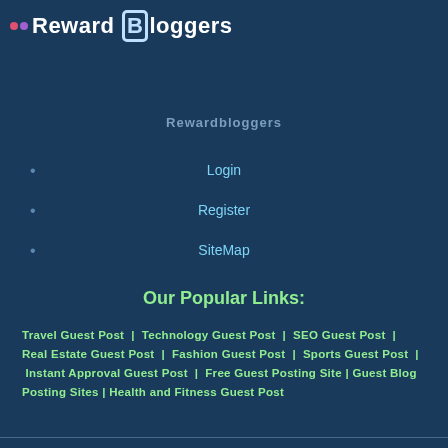Reward Bloggers
Rewardbloggers
Login
Register
SiteMap
Our Popular Links:
Travel Guest Post | Technology Guest Post | SEO Guest Post | Real Estate Guest Post | Fashion Guest Post | Sports Guest Post | Instant Approval Guest Post | Free Guest Posting Site | Guest Blog Posting Sites | Health and Fitness Guest Post